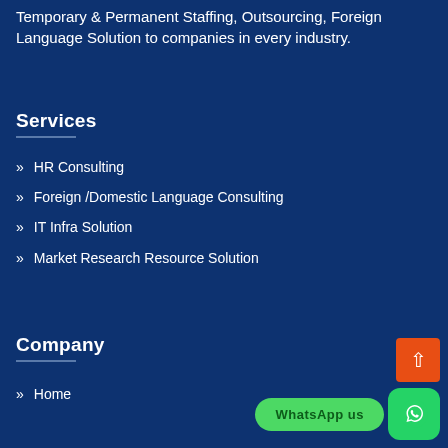Temporary & Permanent Staffing, Outsourcing, Foreign Language Solution to companies in every industry.
Services
HR Consulting
Foreign /Domestic Language Consulting
IT Infra Solution
Market Research Resource Solution
Company
Home